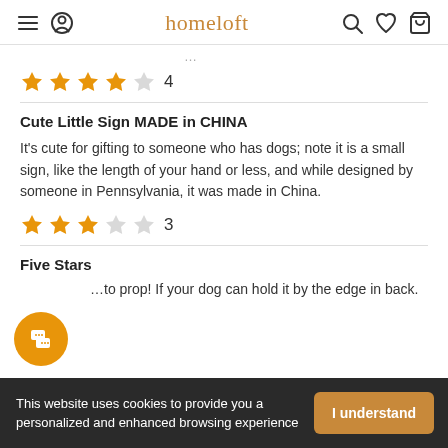homeloft
(partial, cut off at top)
★★★★☆ 4
Cute Little Sign MADE in CHINA
It's cute for gifting to someone who has dogs; note it is a small sign, like the length of your hand or less, and while designed by someone in Pennsylvania, it was made in China.
★★★☆☆ 3
Five Stars
...to prop! If your dog can hold it by the edge in back.
This website uses cookies to provide you a personalized and enhanced browsing experience